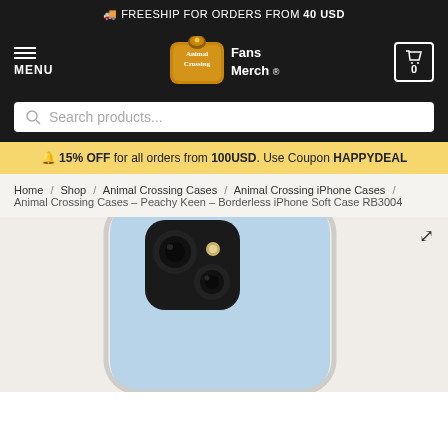🚚 FREESHIP FOR ORDERS FROM 40 USD
[Figure (logo): Animal Crossing Fans Merch logo with game logo icon and navigation bar including MENU and cart icon]
Search products...
🔔 15% OFF for all orders from 100USD. Use Coupon HAPPYDEAL
Home / Shop / Animal Crossing Cases / Animal Crossing iPhone Cases / Animal Crossing Cases – Peachy Keen – Borderless iPhone Soft Case RB3004
[Figure (photo): Back of a blue iPhone in a clear soft case showing the dual camera module, partially cropped]